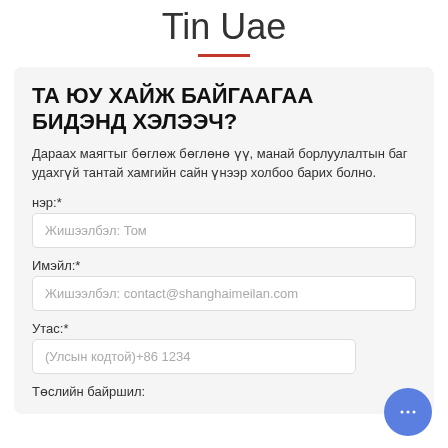Tin Uae
ТА ЮУ ХАЙЖ БАЙГААГАА БИДЭНД ХЭЛЭЭЧ?
Дараах маягтыг бөглөж бөглөнө үү, манай борлуулалтын баг удахгүй тантай хамгийн сайн үнээр холбоо барих болно.
нэр:*
Жишээлбэл: Том
Имэйл:*
Жишээлбэл: contact@shanghaimeilan.com
Утас:*
(Улсын кодтой)+86 1234
Төслийн байршил: